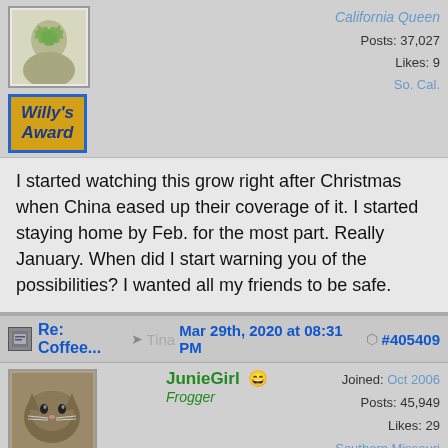[Figure (illustration): Willy's Award badge - gold/yellow background with blue border, blue italic bold text reading "Willy's Award"]
California Queen  Posts: 37,027  Likes: 9  So. Cal.
I started watching this grow right after Christmas when China eased up their coverage of it. I started staying home by Feb. for the most part. Really January. When did I start warning you of the possibilities? I wanted all my friends to be safe.
Re: Coffee... → Tina  Mar 29th, 2020 at 08:31 PM  #405409
[Figure (illustration): Avatar photo of a cat]
[Figure (illustration): 40 K badge - purple/violet background with yellow hand silhouette graphic and yellow italic text '40 K']
JunieGirl  Frogger  Joined: Oct 2006  Posts: 45,949  Likes: 29  Southern Missouri
[Figure (illustration): Hostess badge - purple background, orange border, gold italic text 'Hostess']
I looked back, Tina...I think possibly the first you mentioned it was Feb 27 th. If that was not the first mention, it was real close. And I do appreciate the warning. I was able to begin to stock up AND mentally prepare. Not to mention arrange to get my second shingles vaccination.